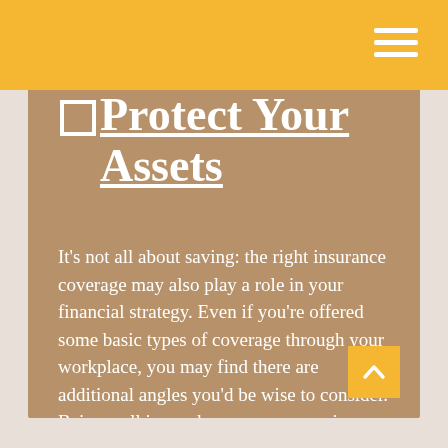Protect Your Assets
It's not all about saving: the right insurance coverage may also play a role in your financial strategy. Even if you're offered some basic types of coverage through your workplace, you may find there are additional angles you'd be wise to consider. Being well insured can save you major headaches down the road.